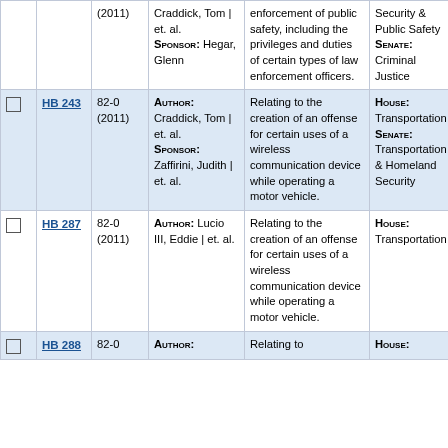|  | Bill | Session | Author/Sponsor | Caption | Committees |
| --- | --- | --- | --- | --- | --- |
|  |  | 82-0 (2011) | AUTHOR: Craddick, Tom | et. al.
SPONSOR: Hegar, Glenn | enforcement of public safety, including the privileges and duties of certain types of law enforcement officers. | HOUSE: Security & Public Safety
SENATE: Criminal Justice |
| ☐ | HB 243 | 82-0 (2011) | AUTHOR: Craddick, Tom | et. al.
SPONSOR: Zaffirini, Judith | et. al. | Relating to the creation of an offense for certain uses of a wireless communication device while operating a motor vehicle. | HOUSE: Transportation
SENATE: Transportation & Homeland Security |
| ☐ | HB 287 | 82-0 (2011) | AUTHOR: Lucio III, Eddie | et. al. | Relating to the creation of an offense for certain uses of a wireless communication device while operating a motor vehicle. | HOUSE: Transportation |
| ☐ | HB 288 | 82-0 | AUTHOR: | Relating to | HOUSE: |